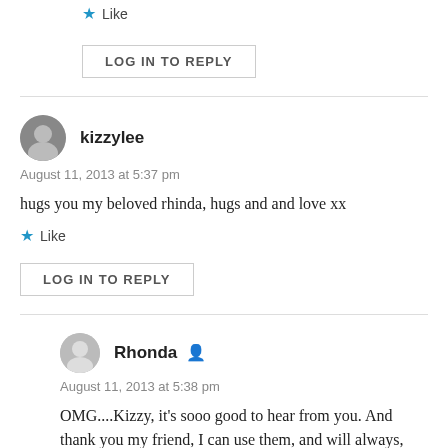★ Like
LOG IN TO REPLY
kizzylee
August 11, 2013 at 5:37 pm
hugs you my beloved rhinda, hugs and and love xx
★ Like
LOG IN TO REPLY
Rhonda
August 11, 2013 at 5:38 pm
OMG....Kizzy, it's sooo good to hear from you. And thank you my friend, I can use them, and will always,